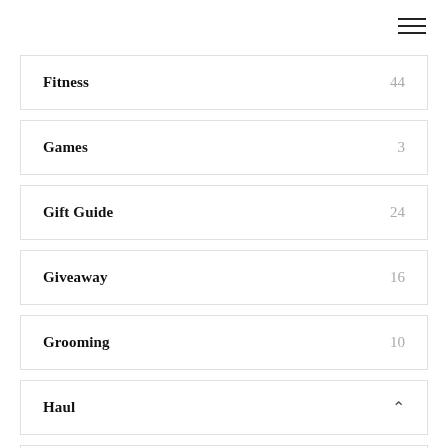[Figure (other): Hamburger menu icon (three horizontal lines) in top right corner]
Fitness 44
Games 3
Gift Guide 24
Giveaway 16
Grooming 10
Haul
Home 92